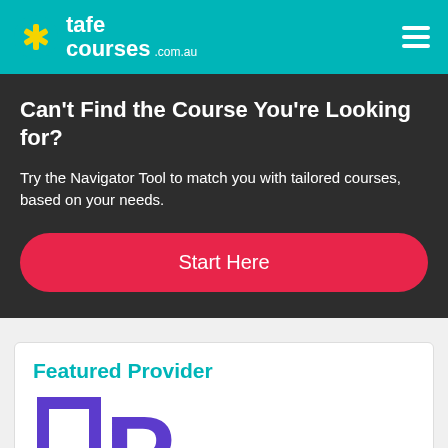tafe courses .com.au
Can't Find the Course You're Looking for?
Try the Navigator Tool to match you with tailored courses, based on your needs.
Start Here
Featured Provider
[Figure (logo): Purple and blue stylized 'P' logo mark for a featured provider]